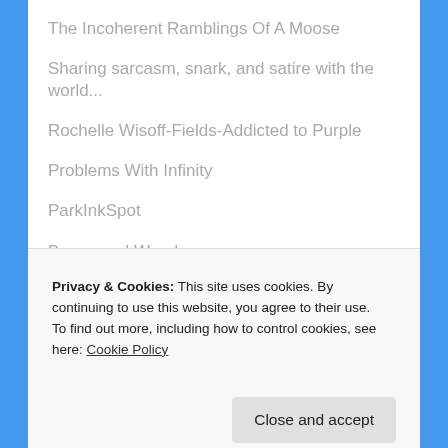The Incoherent Ramblings Of A Moose
Sharing sarcasm, snark, and satire with the world...
Rochelle Wisoff-Fields-Addicted to Purple
Problems With Infinity
ParkInkSpot
Brown and Wooden
The English Major: A Dramedy
Privacy & Cookies: This site uses cookies. By continuing to use this website, you agree to their use.
To find out more, including how to control cookies, see here: Cookie Policy
Close and accept